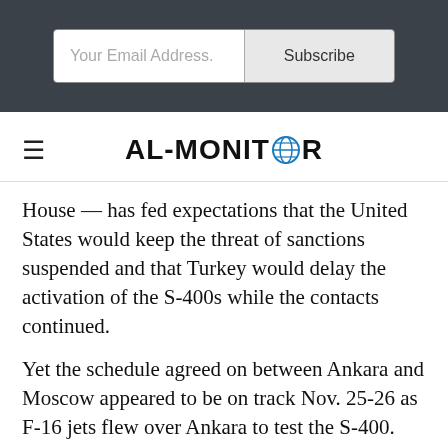[Figure (screenshot): Email subscription bar with 'Your Email Address.' input and 'Subscribe' button on dark background]
[Figure (logo): AL-MONITOR logo with globe icon replacing the letter O]
House — has fed expectations that the United States would keep the threat of sanctions suspended and that Turkey would delay the activation of the S-400s while the contacts continued.
Yet the schedule agreed on between Ankara and Moscow appeared to be on track Nov. 25-26 as F-16 jets flew over Ankara to test the S-400. Foreign Minister Mevlut Cavusoglu said Turkey never intended to keep the system unpacked and never pledged to not